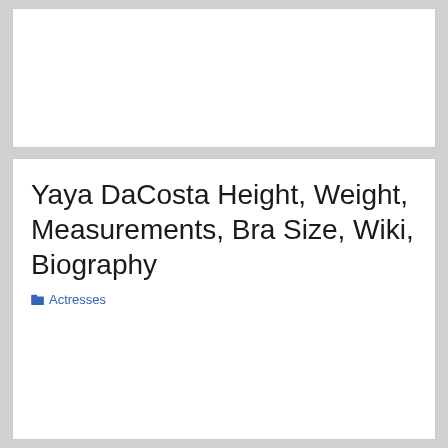Yaya DaCosta Height, Weight, Measurements, Bra Size, Wiki, Biography
Actresses